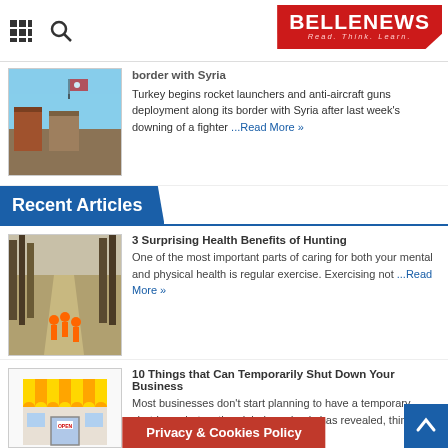BELLENEWS – Read. Think. Learn.
border with Syria
Turkey begins rocket launchers and anti-aircraft guns deployment along its border with Syria after last week's downing of a fighter ...Read More »
Recent Articles
3 Surprising Health Benefits of Hunting
One of the most important parts of caring for both your mental and physical health is regular exercise. Exercising not ...Read More »
10 Things that Can Temporarily Shut Down Your Business
Most businesses don't start planning to have a temporary shutdown, but as the global pandemic has revealed, things can happen ...Read More »
Privacy & Cookies Policy